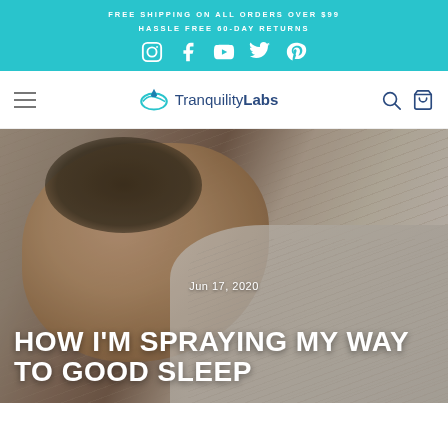FREE SHIPPING ON ALL ORDERS OVER $99
HASSLE FREE 60-DAY RETURNS
[Figure (logo): Tranquility Labs logo with water drop icon]
[Figure (photo): Man sleeping on striped pillow in bed, with article date Jun 17, 2020 and title HOW I'M SPRAYING MY WAY TO GOOD SLEEP overlaid]
HOW I'M SPRAYING MY WAY TO GOOD SLEEP